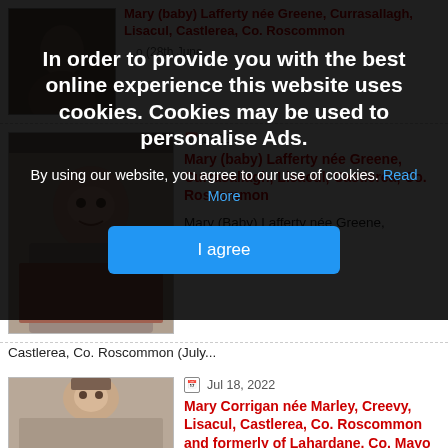In order to provide you with the best online experience this website uses cookies. Cookies may be used to personalise Ads.
By using our website, you agree to our use of cookies. Read More
I agree
[Figure (photo): Portrait photo of a woman with short dark hair, partially visible at top of page]
Mary (baby) Lafferty née Greene, Currasallagh, Lisacul, Castlerea, Co. Roscommon
[Figure (photo): Portrait photo of an older woman with short curly hair, smiling]
Mary (Baby) Lafferty née Greene, Currasallagh, Lisacul, Castlerea, Co. Roscommon (July...
Jul 18, 2022
Mary Corrigan née Marley, Creevy, Lisacul, Castlerea, Co. Roscommon and formerly of Lahardane, Co. Mayo
[Figure (photo): Portrait photo of an older woman with glasses and short brown hair]